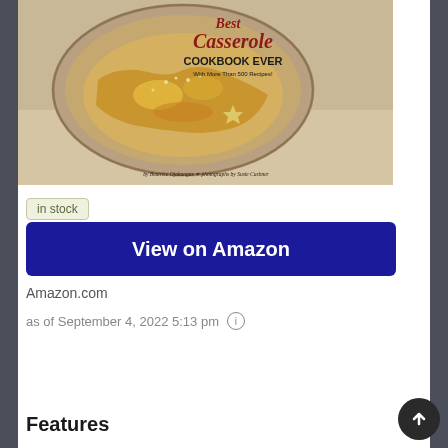[Figure (photo): Book cover of 'Best Casserole Cookbook Ever' with More Than 500 Recipes, by Beatrice Ojakangas, photographs by Susie Cushner. Shows a casserole dish from above on a linen cloth.]
in stock
View on Amazon
Amazon.com
as of September 4, 2022 5:13 pm
Features